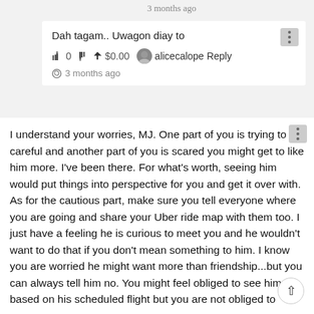3 months ago
Dah tagam.. Uwagon diay to
👍 0 👎  ↑ $0.00  alicecalope  Reply
⟳ 3 months ago
I understand your worries, MJ. One part of you is trying to be careful and another part of you is scared you might get to like him more. I've been there. For what's worth, seeing him would put things into perspective for you and get it over with. As for the cautious part, make sure you tell everyone where you are going and share your Uber ride map with them too. I just have a feeling he is curious to meet you and he wouldn't want to do that if you don't mean something to him. I know you are worried he might want more than friendship...but you can always tell him no. You might feel obliged to see him based on his scheduled flight but you are not obliged to